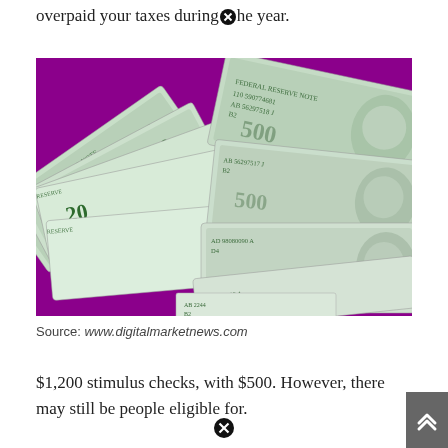overpaid your taxes during the year.
[Figure (photo): Overhead photo of multiple US $20 and $100 dollar bills fanned out on a purple/magenta background]
Source: www.digitalmarketnews.com
$1,200 stimulus checks, with $500. However, there may still be people eligible for.